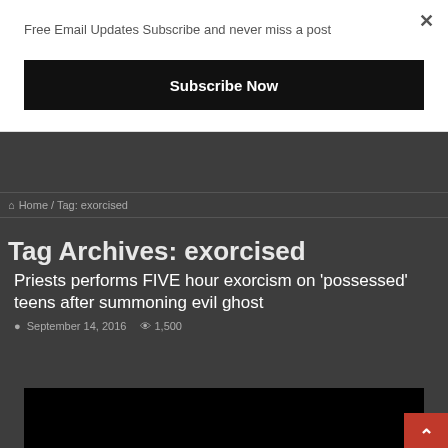Free Email Updates Subscribe and never miss a post
Subscribe Now
Home / Tag: exorcised
Tag Archives: exorcised
Priests performs FIVE hour exorcism on 'possessed' teens after summoning evil ghost
September 14, 2016   1,500
[Figure (photo): Black image placeholder for article photo]